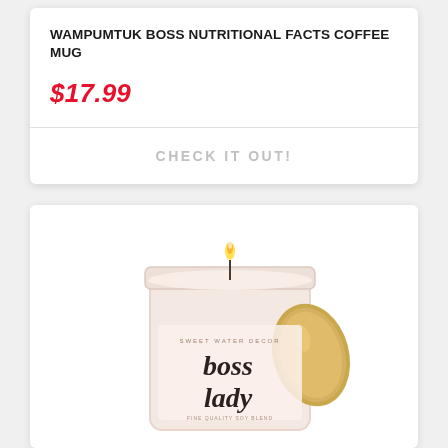WAMPUMTUK BOSS NUTRITIONAL FACTS COFFEE MUG
$17.99
CHECK IT OUT!
[Figure (photo): A lit pink frosted glass candle jar with a gold lid leaning against it. The candle label reads 'sweet water decor boss lady' in cursive script.]